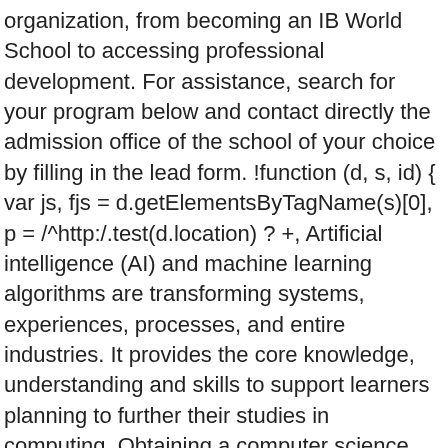organization, from becoming an IB World School to accessing professional development. For assistance, search for your program below and contact directly the admission office of the school of your choice by filling in the lead form. !function (d, s, id) { var js, fjs = d.getElementsByTagName(s)[0], p = /^http:/.test(d.location) ? +, Artificial intelligence (AI) and machine learning algorithms are transforming systems, experiences, processes, and entire industries. It provides the core knowledge, understanding and skills to support learners planning to further their studies in computing. Obtaining a computer science diploma can open many opportunities. A new component has been introduced (HL only) that is linked to the annually issued case study, to expand students' knowledge of a new subject-related topic through investigative study. ... #10 Diploma In Computer Engineering. Computational thinking lies at the heart of the course and is integrated with other topics. The number of careers that a person can enter into after having earned a computer science diploma is almost as large as the